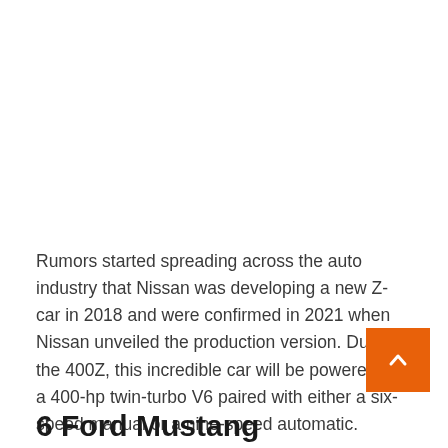Rumors started spreading across the auto industry that Nissan was developing a new Z-car in 2018 and were confirmed in 2021 when Nissan unveiled the production version. Dubbed the 400Z, this incredible car will be powered by a 400-hp twin-turbo V6 paired with either a six-speed manual or a nine-speed automatic.
6 Ford Mustang